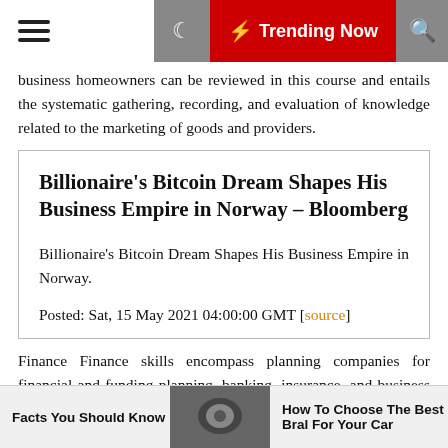≡  ☾  ⚡ Trending Now  🔍
business homeowners can be reviewed in this course and entails the systematic gathering, recording, and evaluation of knowledge related to the marketing of goods and providers.
Billionaire's Bitcoin Dream Shapes His Business Empire in Norway – Bloomberg
Billionaire's Bitcoin Dream Shapes His Business Empire in Norway.
Posted: Sat, 15 May 2021 04:00:00 GMT [source]
Finance Finance skills encompass planning companies for financial and funding planning, banking, insurance, and business financial administration. Discover programs
Facts You Should Know     How To Choose The Best Bral For Your Car